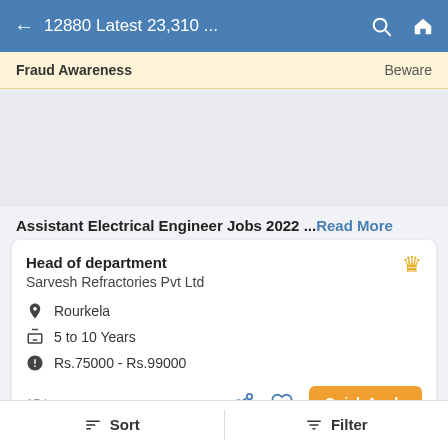← 12880 Latest 23,310 ...
Fraud Awareness    Beware
[Figure (other): Gray advertisement/banner placeholder area]
Assistant Electrical Engineer Jobs 2022 ... Read More
Head of department
Sarvesh Refractories Pvt Ltd
Rourkela
5 to 10 Years
Rs.75000 - Rs.99000
15 hours ago   Quick Apply
Sort    Filter